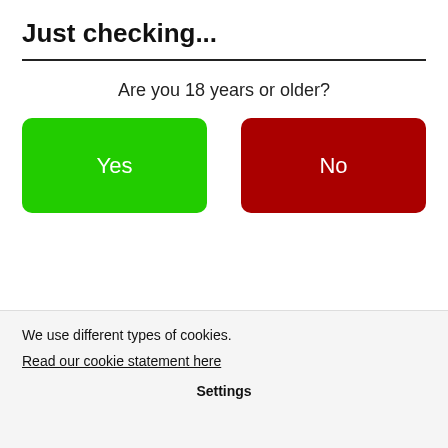Just checking...
Are you 18 years or older?
[Figure (other): Two large buttons side by side: green 'Yes' button on the left, dark red 'No' button on the right]
We use different types of cookies.
Read our cookie statement here
Settings